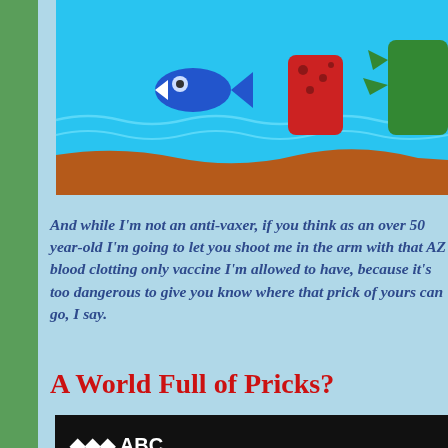[Figure (illustration): Cartoon fish scene with blue water, sandy bottom, and colorful cartoon fish/dinosaur characters swimming]
And while I'm not an anti-vaxer, if you think as an over 50 year-old I'm going to let you shoot me in the arm with that AZ blood clotting only vaccine I'm allowed to have, because it's too dangerous to give you know where that prick of yours can go, I say.
A World Full of Pricks?
[Figure (screenshot): ABC Australia website screenshot showing Coronacast podcast page with Norman Swan and Tegan Taylor, with navigation tabs: Overview, Past Episodes, Ask a question]
[Figure (illustration): Orange/red background with what appears to be coronavirus or red spiky objects at bottom]